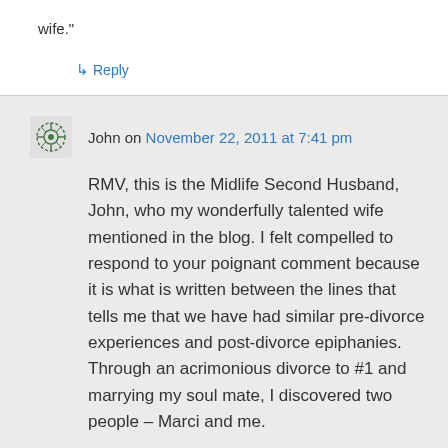wife."
↳ Reply
John on November 22, 2011 at 7:41 pm
RMV, this is the Midlife Second Husband, John, who my wonderfully talented wife mentioned in the blog. I felt compelled to respond to your poignant comment because it is what is written between the lines that tells me that we have had similar pre-divorce experiences and post-divorce epiphanies. Through an acrimonious divorce to #1 and marrying my soul mate, I discovered two people – Marci and me.